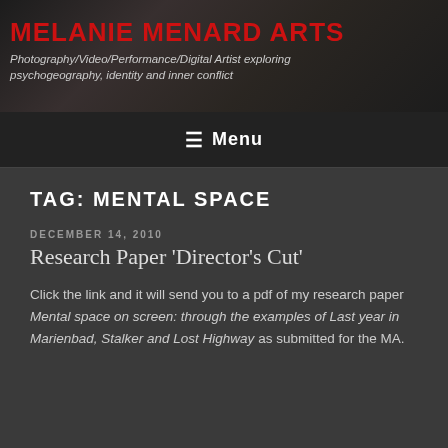MELANIE MENARD ARTS
Photography/Video/Performance/Digital Artist exploring psychogeography, identity and inner conflict
≡ Menu
TAG: MENTAL SPACE
DECEMBER 14, 2010
Research Paper 'Director's Cut'
Click the link and it will send you to a pdf of my research paper Mental space on screen: through the examples of Last year in Marienbad, Stalker and Lost Highway as submitted for the MA.